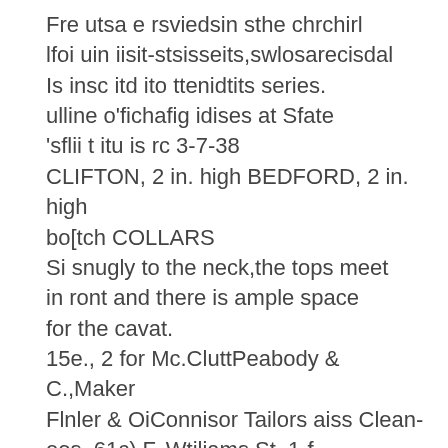Fre utsa e rsviedsin sthe chrchirl lfoi uin iisit-stsisseits,swlosarecisdal Is insc itd ito ttenidtits series. ulline o'fichafig idises at Sfate 'sflii t itu is rc 3-7-38 CLIFTON, 2 in. high BEDFORD, 2 in. high bo[tch COLLARS Si snugly to the neck,the tops meet in ront and there is ample space for the cavat. 15e., 2 for Mc.CluttPeabody & C.,Maker Flnler & OiConnisor Tailors aiss Clean-eos, 61c) F. Wtiliams St. 1-f. Detroit Laundiry Braineh offle. Call